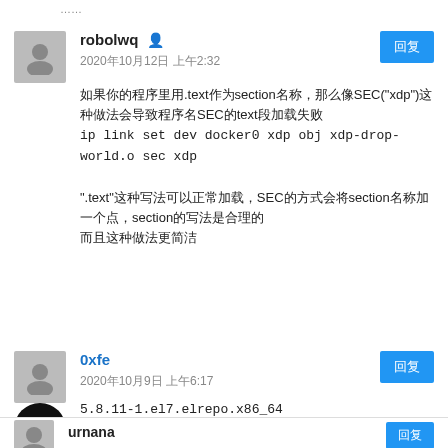……
robolwq
2020年10月12日 上午2:32
如果你的程序里用.text作为section名称，那么像SEC("xdp")这种做法会导致程序名SEC的text段加载失败
ip link set dev docker0 xdp obj xdp-drop-world.o sec xdp
".text"这种写法可以正常加载，SEC的方式会将section名称加一个点，所以这个写法是合理的
0xfe
2020年10月9日 上午6:17
5.8.11-1.el7.elrepo.x86_64
clang version 3.9.1 (tags/RELEASE_391/final)
LLVM version 3.4.2
urnana